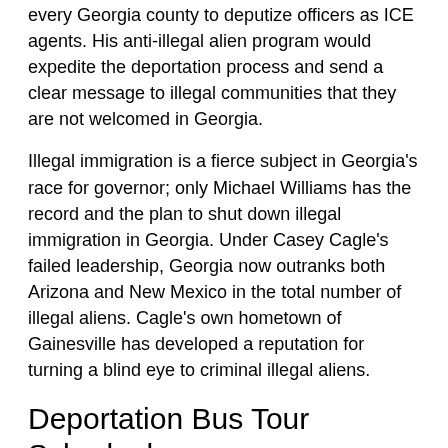every Georgia county to deputize officers as ICE agents. His anti-illegal alien program would expedite the deportation process and send a clear message to illegal communities that they are not welcomed in Georgia.
Illegal immigration is a fierce subject in Georgia's race for governor; only Michael Williams has the record and the plan to shut down illegal immigration in Georgia. Under Casey Cagle's failed leadership, Georgia now outranks both Arizona and New Mexico in the total number of illegal aliens. Cagle's own hometown of Gainesville has developed a reputation for turning a blind eye to criminal illegal aliens.
Deportation Bus Tour Schedual
Wednesday, May 16 2018
12:00 PM – Michael Williams Deportation Bus departs Gainesville campaign office